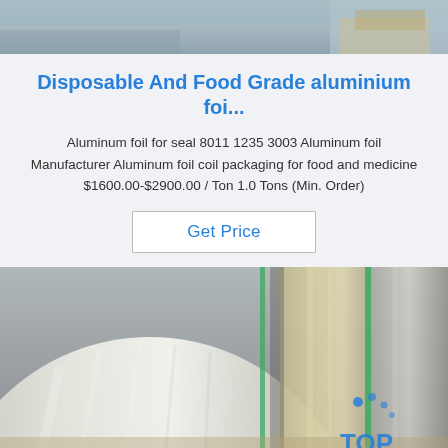[Figure (photo): Top partial photo of a warehouse or factory floor with aluminum materials on pallets, showing silver/grey industrial setting.]
Disposable And Food Grade aluminium foi...
Aluminum foil for seal 8011 1235 3003 Aluminum foil Manufacturer Aluminum foil coil packaging for food and medicine $1600.00-$2900.00 / Ton 1.0 Tons (Min. Order)
Get Price
[Figure (photo): Large rolls of aluminum foil coils stacked together, silver metallic finish with green binding straps visible, with a TOP logo watermark in the bottom right.]